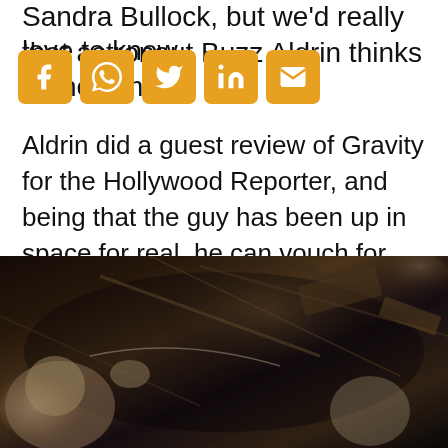Sandra Bullock, but we'd really love to know what astronaut Buzz Aldrin thinks of the film.
[Figure (infographic): Social media share buttons: Facebook, WhatsApp, Twitter, LinkedIn, Email — amber/orange colored square icons with white symbols]
Aldrin did a guest review of Gravity for the Hollywood Reporter, and being that the guy has been up in space for real, he can vouch for the movie's accuracy. So what did he think of Gravity? Well, he told the Reporter he found the film “remarkable.”
[Figure (photo): A scene from the movie Gravity showing astronauts in spacesuits amid debris in outer space, with Earth visible in the background]